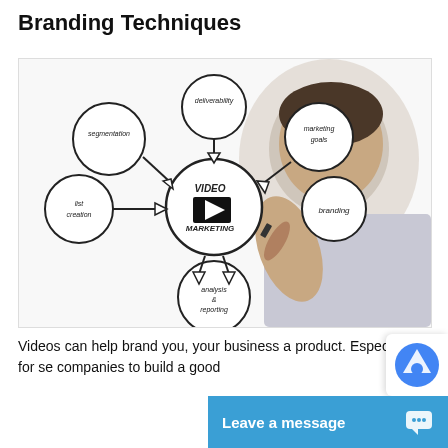Branding Techniques
[Figure (photo): A man in a striped shirt drawing a video marketing mind map diagram on a transparent surface, with bubbles labeled: deliverability, segmentation, marketing goals, list creation, branding, analysis & reporting, VIDEO MARKETING (center with play button icon)]
Videos can help brand you, your business a product. Especially for se companies to build a good
Leave a message